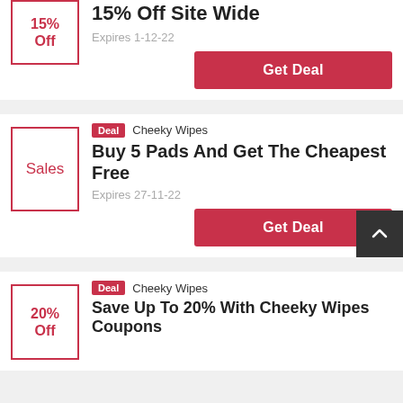15% Off
15% Off Site Wide
Expires 1-12-22
Get Deal
Deal  Cheeky Wipes
Sales
Buy 5 Pads And Get The Cheapest Free
Expires 27-11-22
Get Deal
Deal  Cheeky Wipes
20% Off
Save Up To 20% With Cheeky Wipes Coupons